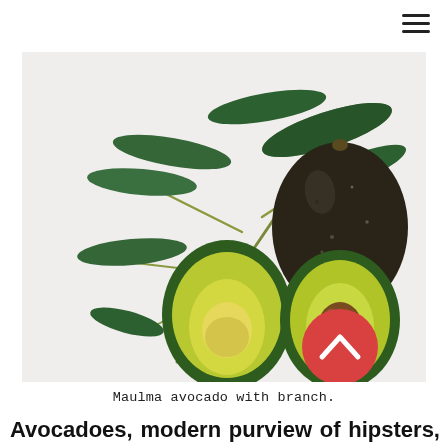[Figure (photo): Photograph of a Maulma avocado with a leafy branch, showing one whole dark-skinned avocado and two halves cut open revealing green flesh and a brown pit, placed on a white background.]
Maulma avocado with branch.
Avocadoes, modern purview of hipsters, are actually an